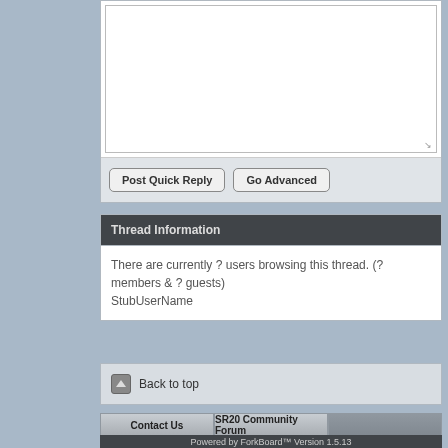[Figure (screenshot): A textarea (text input box) for quick reply, shown mostly empty with a resize handle in the bottom right corner.]
Post Quick Reply   Go Advanced
Thread Information
There are currently ? users browsing this thread. (? members & ? guests)
StubUserName
Back to top
Contact Us   SR20 Community Forum
Powered by ForkBoard™ Version 1.5.13